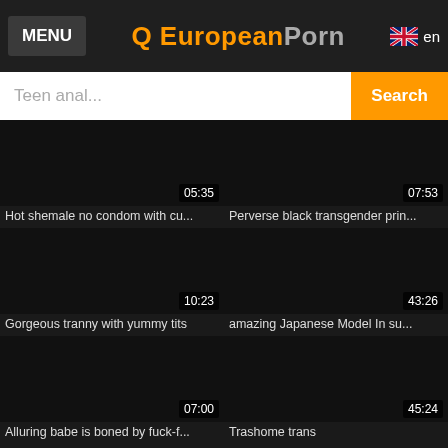MENU | Q EuropeanPorn | en
Teen anal... Search
[Figure (screenshot): Video thumbnail dark, duration 05:35]
Hot shemale no condom with cu...
[Figure (screenshot): Video thumbnail dark, duration 07:53]
Perverse black transgender prin...
[Figure (screenshot): Video thumbnail dark, duration 10:23]
Gorgeous tranny with yummy tits
[Figure (screenshot): Video thumbnail dark, duration 43:26]
amazing Japanese Model In su...
[Figure (screenshot): Video thumbnail dark, duration 07:00]
Alluring babe is boned by fuck-f...
[Figure (screenshot): Video thumbnail dark, duration 45:24]
Trashome trans